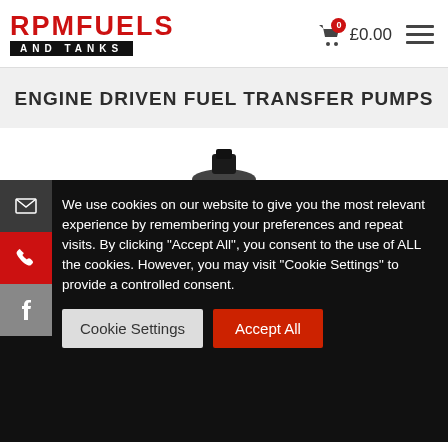RPM FUELS AND TANKS — £0.00
ENGINE DRIVEN FUEL TRANSFER PUMPS
[Figure (screenshot): Partial product image of an engine driven fuel transfer pump visible at the bottom of the page content area]
We use cookies on our website to give you the most relevant experience by remembering your preferences and repeat visits. By clicking "Accept All", you consent to the use of ALL the cookies. However, you may visit "Cookie Settings" to provide a controlled consent.
Cookie Settings   Accept All